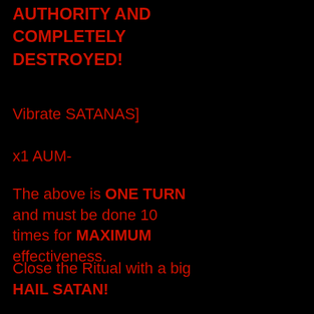AUTHORITY AND COMPLETELY DESTROYED!
Vibrate SATANAS]
x1 AUM-
The above is ONE TURN and must be done 10 times for MAXIMUM effectiveness.
Close the Ritual with a big HAIL SATAN!
On pronouncing the words: